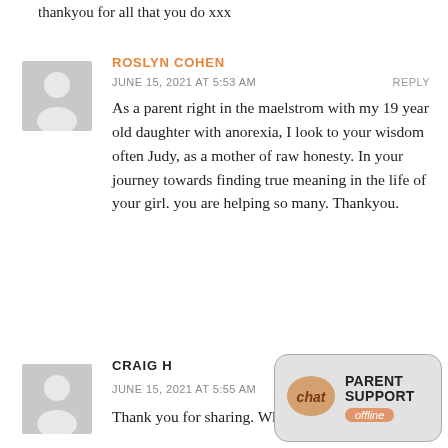thankyou for all that you do xxx
ROSLYN COHEN
JUNE 15, 2021 AT 5:53 AM
REPLY
As a parent right in the maelstrom with my 19 year old daughter with anorexia, I look to your wisdom often Judy, as a mother of raw honesty. In your journey towards finding true meaning in the life of your girl. you are helping so many. Thankyou.
CRAIG H
JUNE 15, 2021 AT 5:55 AM
Thank you for sharing. While the depth
[Figure (infographic): Parent Support chat widget showing 'chat' bubble icon with text PARENT SUPPORT and offline status label]